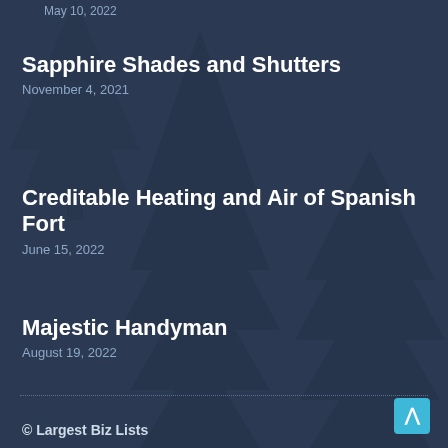Sapphire Shades and Shutters
November 4, 2021
Creditable Heating and Air of Spanish Fort
June 15, 2022
Majestic Handyman
August 19, 2022
© Largest Biz Lists
Made with ❤ Citation Vault